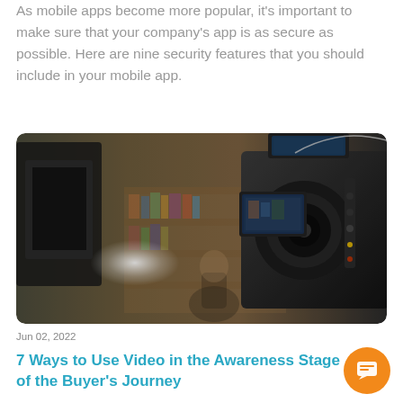As mobile apps become more popular, it's important to make sure that your company's app is as secure as possible. Here are nine security features that you should include in your mobile app.
[Figure (photo): A professional video camera with monitor and equipment in a studio/filming environment, with blurred background showing shelves.]
Jun 02, 2022
7 Ways to Use Video in the Awareness Stage of the Buyer's Journey